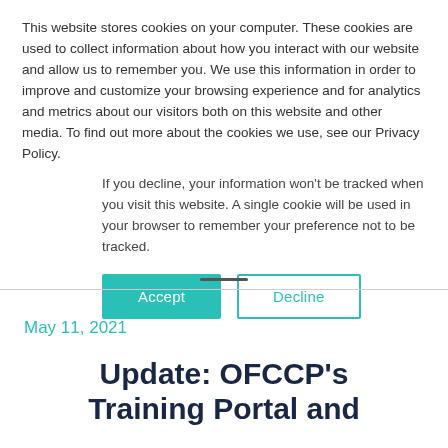This website stores cookies on your computer. These cookies are used to collect information about how you interact with our website and allow us to remember you. We use this information in order to improve and customize your browsing experience and for analytics and metrics about our visitors both on this website and other media. To find out more about the cookies we use, see our Privacy Policy.
If you decline, your information won't be tracked when you visit this website. A single cookie will be used in your browser to remember your preference not to be tracked.
Accept | Decline
May 11, 2021
Update: OFCCP's Training Portal and